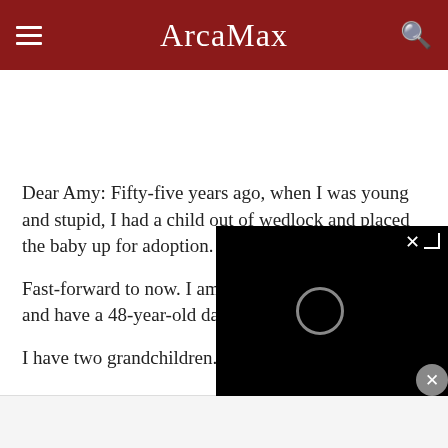ArcaMax
Dear Amy: Fifty-five years ago, when I was young and stupid, I had a child out of wedlock and placed the baby up for adoption.
Fast-forward to now. I am married to a different man and have a 48-year-old daug[hter...]
I have two grandchildren. My[...]
[Figure (screenshot): Black video player overlay with close X button and loading spinner circle]